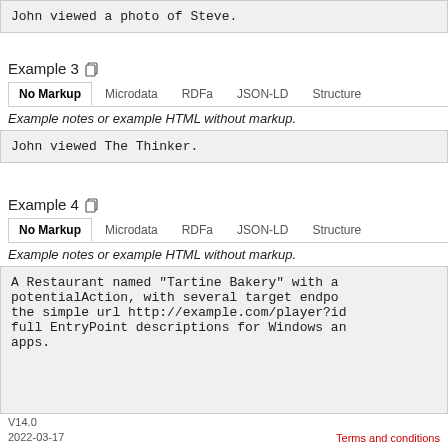John viewed a photo of Steve.
Example 3
Example notes or example HTML without markup.
John viewed The Thinker.
Example 4
Example notes or example HTML without markup.
A Restaurant named "Tartine Bakery" with a potentialAction, with several target endpoints: the simple url http://example.com/player?id full EntryPoint descriptions for Windows and apps.
V14.0
2022-03-17
Terms and conditions